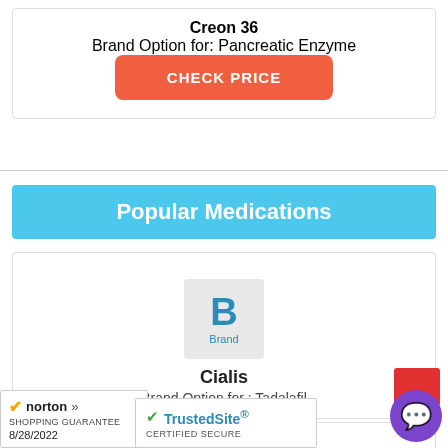Creon 36
Brand Option for: Pancreatic Enzyme
CHECK PRICE
Popular Medications
[Figure (logo): Brand icon with large letter B and word Brand below, light gray background]
Cialis
Brand Option for : Tadalafil
[Figure (logo): Brand icon with large letter B and word Brand below, light gray background]
Lipitor
n for : Atorvastatin
[Figure (logo): Norton Shopping Guarantee badge, 8/28/2022]
[Figure (logo): TrustedSite Certified Secure badge]